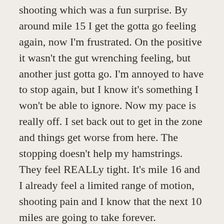shooting which was a fun surprise. By around mile 15 I get the gotta go feeling again, now I'm frustrated. On the positive it wasn't the gut wrenching feeling, but another just gotta go. I'm annoyed to have to stop again, but I know it's something I won't be able to ignore. Now my pace is really off. I set back out to get in the zone and things get worse from here. The stopping doesn't help my hamstrings. They feel REALLy tight. It's mile 16 and I already feel a limited range of motion, shooting pain and I know that the next 10 miles are going to take forever.
Each mile the passes from this point forward the pain increases, my range of motion limits and I'm completely frustrated. My movement is